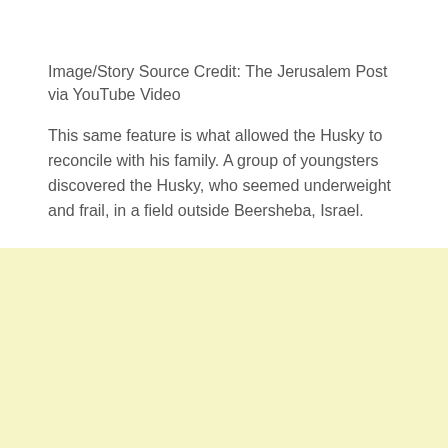Image/Story Source Credit: The Jerusalem Post via YouTube Video
This same feature is what allowed the Husky to reconcile with his family. A group of youngsters discovered the Husky, who seemed underweight and frail, in a field outside Beersheba, Israel.